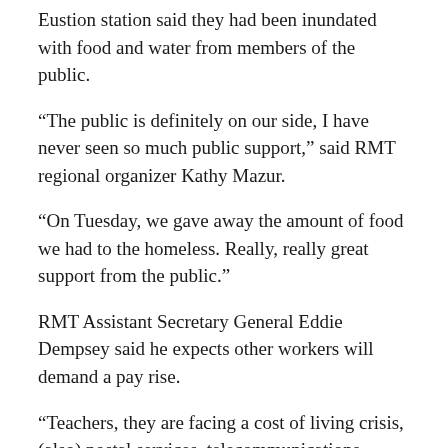Eustion station said they had been inundated with food and water from members of the public.
“The public is definitely on our side, I have never seen so much public support,” said RMT regional organizer Kathy Mazur.
“On Tuesday, we gave away the amount of food we had to the homeless. Really, really great support from the public.”
RMT Assistant Secretary General Eddie Dempsey said he expects other workers will demand a pay rise.
“Teachers, they are facing a cost of living crisis, (also) postal services, telecommunications workers, health workers. We believe there will be more demands for wage increases in the economy, and we think that is right.”